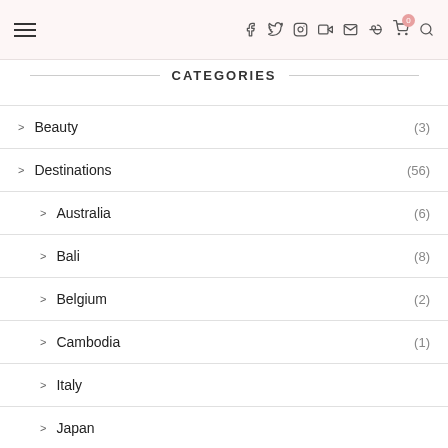Navigation header with hamburger menu and social icons
CATEGORIES
Beauty (3)
Destinations (56)
Australia (6)
Bali (8)
Belgium (2)
Cambodia (1)
Italy
Japan